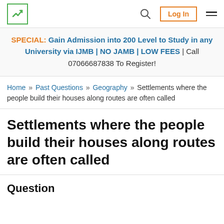Logo | Search | Log In | Menu
SPECIAL: Gain Admission into 200 Level to Study in any University via IJMB | NO JAMB | LOW FEES | Call 07066687838 To Register!
Home » Past Questions » Geography » Settlements where the people build their houses along routes are often called
Settlements where the people build their houses along routes are often called
Question